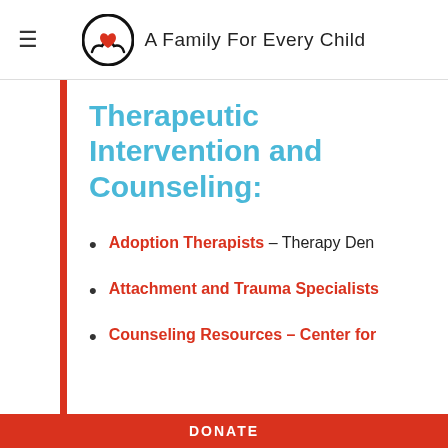A Family For Every Child
Therapeutic Intervention and Counseling:
Adoption Therapists – Therapy Den
Attachment and Trauma Specialists
Counseling Resources – Center for
DONATE